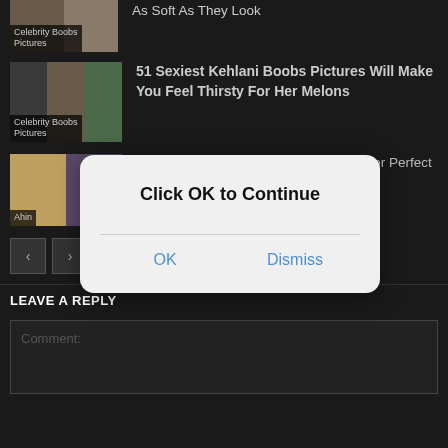[Figure (screenshot): Thumbnail image with 'Celebrity Boobs Pictures' label - partially visible at top]
As Soft As They Look
[Figure (photo): Thumbnail of celebrity group photo with 'Celebrity Boobs Pictures' label]
51 Sexiest Kehlani Boobs Pictures Will Make You Feel Thirsty For Her Melons
[Figure (photo): Thumbnail of blonde woman with 'Ahin' label]
51 Hottest Ahin Boobs Pictures Show Her Perfect Set Of Racks
[Figure (screenshot): Modal dialog box with 'Click OK to Continue' message, OK and Dismiss buttons]
LEAVE A REPLY
Comment: